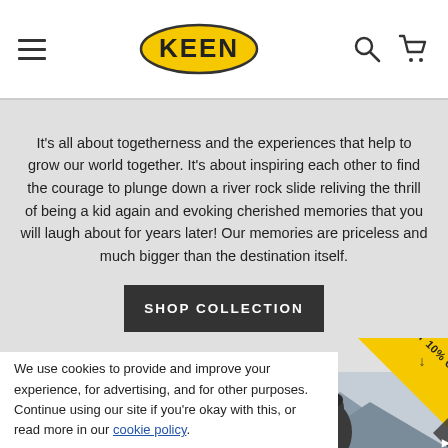[Figure (logo): KEEN brand logo — yellow oval with black text KEEN in stylized font, navigation bar with hamburger menu on left, search and cart icons on right]
It's all about togetherness and the experiences that help to grow our world together. It's about inspiring each other to find the courage to plunge down a river rock slide reliving the thrill of being a kid again and evoking cherished memories that you will laugh about for years later! Our memories are priceless and much bigger than the destination itself.
SHOP COLLECTION
[Figure (photo): Woman in pink/mauve beanie laughing outdoors with mountains in background, another person in dark hat visible behind her]
We use cookies to provide and improve your experience, for advertising, and for other purposes. Continue using our site if you're okay with this, or read more in our cookie policy.
GET 10% OFF